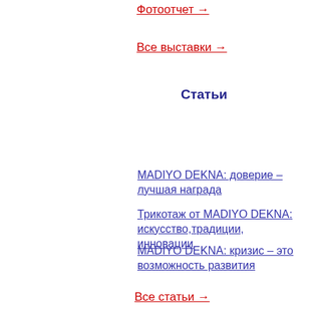Фотоотчет →
Все выставки →
Статьи
MADIYO DEKNA: доверие – лучшая награда
Трикотаж от MADIYO DEKNA: искусство,традиции, инновации
MADIYO DEKNA: кризис – это возможность развития
Все статьи →